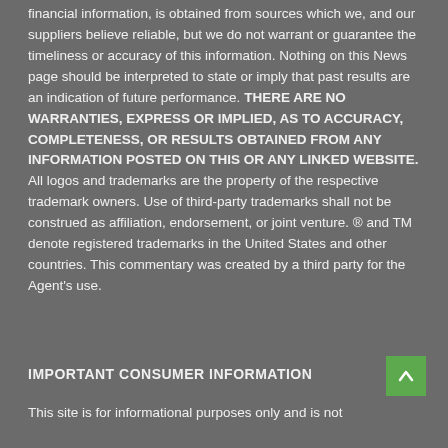financial information, is obtained from sources which we, and our suppliers believe reliable, but we do not warrant or guarantee the timeliness or accuracy of this information. Nothing on this News page should be interpreted to state or imply that past results are an indication of future performance. THERE ARE NO WARRANTIES, EXPRESS OR IMPLIED, AS TO ACCURACY, COMPLETENESS, OR RESULTS OBTAINED FROM ANY INFORMATION POSTED ON THIS OR ANY LINKED WEBSITE. All logos and trademarks are the property of the respective trademark owners. Use of third-party trademarks shall not be construed as affiliation, endorsement, or joint venture. ® and TM denote registered trademarks in the United States and other countries. This commentary was created by a third party for the Agent's use.
IMPORTANT CONSUMER INFORMATION
This site is for informational purposes only and is not